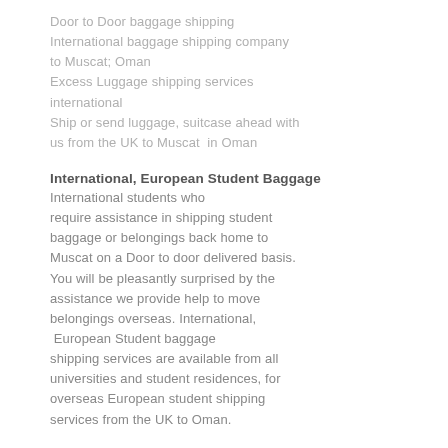Door to Door baggage shipping International baggage shipping company to Muscat; Oman Excess Luggage shipping services international Ship or send luggage, suitcase ahead with us from the UK to Muscat  in Oman
International, European Student Baggage
International students who require assistance in shipping student baggage or belongings back home to Muscat on a Door to door delivered basis. You will be pleasantly surprised by the assistance we provide help to move belongings overseas. International,  European Student baggage shipping services are available from all universities and student residences, for overseas European student shipping services from the UK to Oman.
Unaccompanied Bags
Unaccompanied baggage shipping is where luggage is not accompanied by a